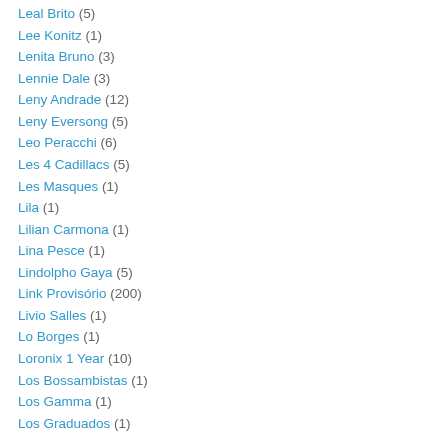Leal Brito (5)
Lee Konitz (1)
Lenita Bruno (3)
Lennie Dale (3)
Leny Andrade (12)
Leny Eversong (5)
Leo Peracchi (6)
Les 4 Cadillacs (5)
Les Masques (1)
Lila (1)
Lilian Carmona (1)
Lina Pesce (1)
Lindolpho Gaya (5)
Link Provisório (200)
Livio Salles (1)
Lo Borges (1)
Loronix 1 Year (10)
Los Bossambistas (1)
Los Gamma (1)
Los Graduados (1)